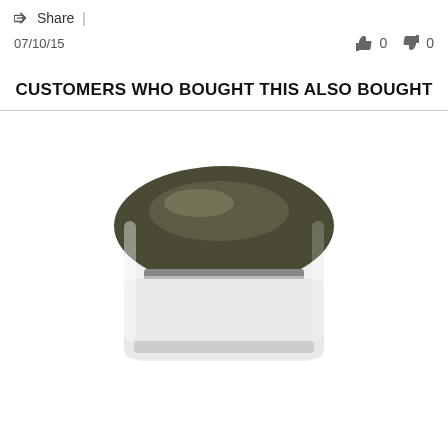Share |
07/10/15  👍 0  👎 0
CUSTOMERS WHO BOUGHT THIS ALSO BOUGHT
[Figure (photo): A thermal label printer or receipt printer shown from the top, with a dark olive/grey curved top cover and white body, with a paper exit slot visible at the bottom.]